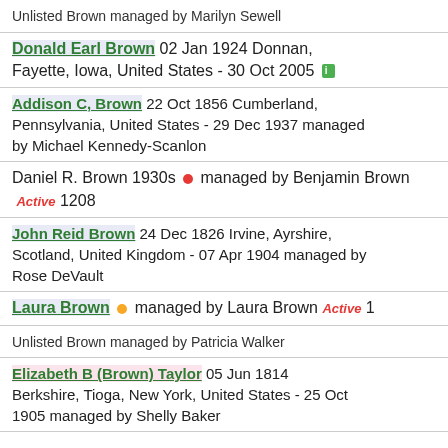Unlisted Brown managed by Marilyn Sewell
Donald Earl Brown 02 Jan 1924 Donnan, Fayette, Iowa, United States - 30 Oct 2005
Addison C, Brown 22 Oct 1856 Cumberland, Pennsylvania, United States - 29 Dec 1937 managed by Michael Kennedy-Scanlon
Daniel R. Brown 1930s managed by Benjamin Brown Active 1208
John Reid Brown 24 Dec 1826 Irvine, Ayrshire, Scotland, United Kingdom - 07 Apr 1904 managed by Rose DeVault
Laura Brown managed by Laura Brown Active 1
Unlisted Brown managed by Patricia Walker
Elizabeth B (Brown) Taylor 05 Jun 1814 Berkshire, Tioga, New York, United States - 25 Oct 1905 managed by Shelly Baker